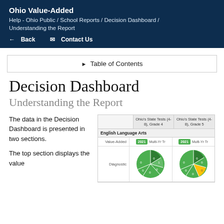Ohio Value-Added
Help - Ohio Public / School Reports / Decision Dashboard / Understanding the Report
← Back   ✉ Contact Us
▶ Table of Contents
Decision Dashboard
Understanding the Report
The data in the Decision Dashboard is presented in two sections.

The top section displays the value
[Figure (screenshot): Screenshot of a Decision Dashboard table showing Ohio's State Tests (4-8), Grade 4 and Grade 5 columns. Rows include English Language Arts section with Value-Added (2021 green badge and Multi-Yr Tr columns) and Diagnostic (pie charts showing green segments with small numbered labels). Two pie charts are partially visible, one mostly green and one with a yellow segment.]